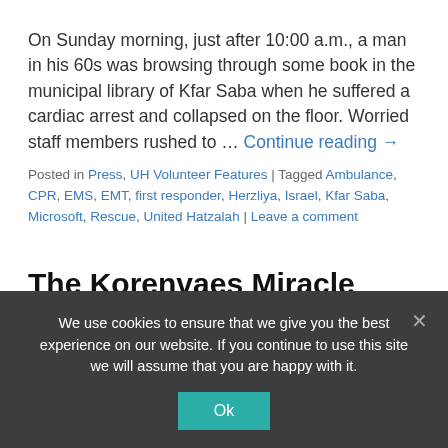On Sunday morning, just after 10:00 a.m., a man in his 60s was browsing through some book in the municipal library of Kfar Saba when he suffered a cardiac arrest and collapsed on the floor. Worried staff members rushed to … Continue reading →
Posted in Press, UH Volunteer Features | Tagged Ambulance, CPR, EMS, EMT, first responder, Herzliya, Israel, Kfar Saba, Microsoft, Rescue, United Hatzalah | Leave a comment
The Korenvaes Miracle Award – 2nd Night of Hannukah Recipient – The E-Bike Volunteer from Kfar Saba – Yaakov
We use cookies to ensure that we give you the best experience on our website. If you continue to use this site we will assume that you are happy with it.